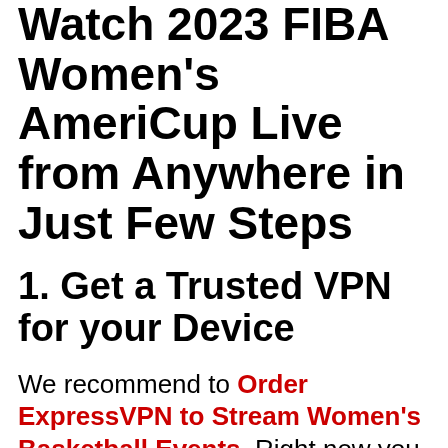Watch 2023 FIBA Women's AmeriCup Live from Anywhere in Just Few Steps
1. Get a Trusted VPN for your Device
We recommend to Order ExpressVPN to Stream Women's Basketball Events. Right now you can enjoy an exclusive offer of 49% off on